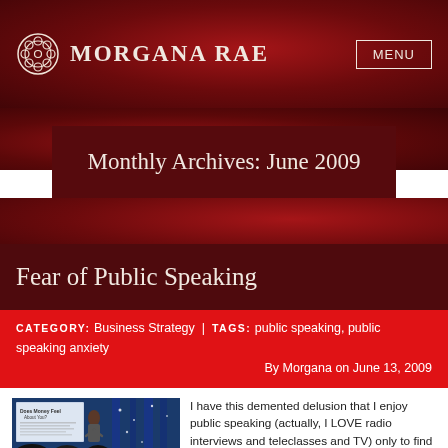Morgana Rae — MENU
Monthly Archives: June 2009
Fear of Public Speaking
CATEGORY: Business Strategy | TAGS: public speaking, public speaking anxiety
By Morgana on June 13, 2009
[Figure (photo): Woman speaking on stage in front of a blue curtain backdrop with a presentation slide visible, audience silhouettes in foreground]
I have this demented delusion that I enjoy public speaking (actually, I LOVE radio interviews and teleclasses and TV) only to find myself on the verge of puking and wanting to curl up into a fetal position before each live event. Continue reading »